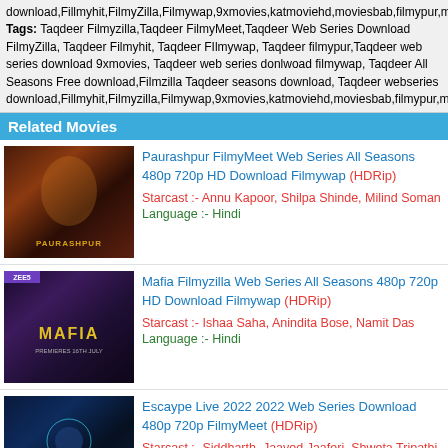download,Fillmyhit,FilmyZilla,Filmywap,9xmovies,katmoviehd,moviesbab,filmypur,
Tags: Taqdeer Filmyzilla,Taqdeer FilmyMeet,Taqdeer Web Series Download FilmyZilla, Taqdeer Filmyhit, Taqdeer Filmywap, Taqdeer filmypur,Taqdeer web series download 9xmovies, Taqdeer web series donlwoad filmywap, Taqdeer All Seasons Free download,Filmzilla Taqdeer seasons download, Taqdeer webseries download,Fillmyhit,Filmyzilla,Filmywap,9xmovies,katmoviehd,moviesbab,filmypur,m
Related Movies
Paurashpur FilmyMeet Web Series All Seasons 480p 720p HD Download Filmywap (HDRip)
Starcast :- Annu Kapoor, Shilpa Shinde, Milind Soman
Language :- Hindi
Mafia Filmyzilla Web Series All Seasons 480p 720p HD Download Filmywap (HDRip)
Starcast :- Ishaa Saha, Anindita Bose, Namit Das
Language :- Hindi
Escaype Live 2022 2022 Web Series Download 480p 720p FilmyMeet (HDRip)
Starcast :- Siddharth, Jaaved Jaaferi, Shweta Tripathi, Swastika Mukherjee
Language :- Hindi